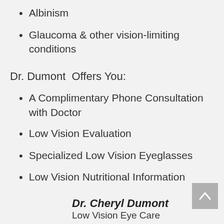Albinism
Glaucoma & other vision-limiting conditions
Dr. Dumont  Offers You:
A Complimentary Phone Consultation with Doctor
Low Vision Evaluation
Specialized Low Vision Eyeglasses
Low Vision Nutritional Information
Dr. Cheryl Dumont
Low Vision Eye Care